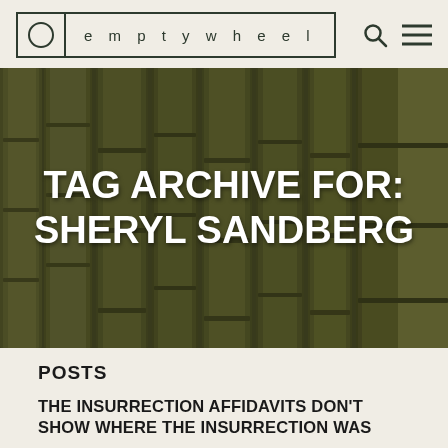emptywheel
[Figure (photo): Dark olive-toned photograph of bamboo stalks/poles shown vertically, serving as a hero image background]
TAG ARCHIVE FOR: SHERYL SANDBERG
POSTS
THE INSURRECTION AFFIDAVITS DON'T SHOW WHERE THE INSURRECTION WAS